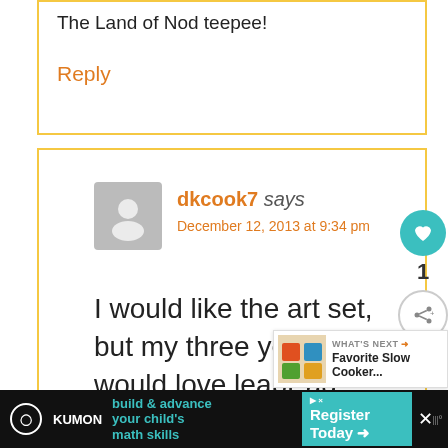The Land of Nod teepee!
Reply
dkcook7 says
December 12, 2013 at 9:34 pm
I would like the art set, but my three year old would love leapPad
[Figure (infographic): What's Next widget with food image and text: Favorite Slow Cooker...]
[Figure (infographic): Advertisement banner: KUMON build & advance your child's math skills. Register Today.]